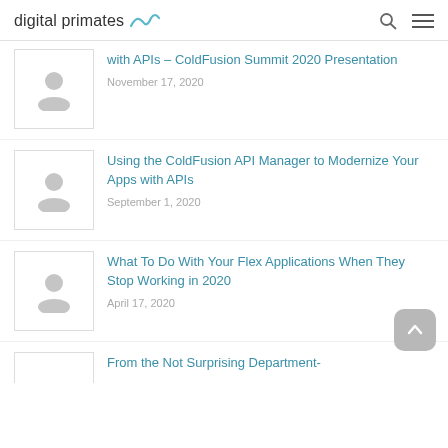digital primates
with APIs – ColdFusion Summit 2020 Presentation
November 17, 2020
Using the ColdFusion API Manager to Modernize Your Apps with APIs
September 1, 2020
What To Do With Your Flex Applications When They Stop Working in 2020
April 17, 2020
From the Not Surprising Department-